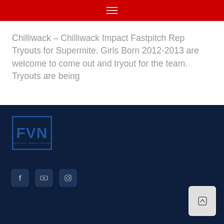Navigation menu (hamburger icon on red bar)
Chilliwack – Chilliwack Impact Fastpitch Rep Tryouts for Supermite. Girls Born 2012-2013 are welcome to come out and tryout for the team. Tryouts are being
[Figure (logo): FVN logo — white/blue box with bold FVN letters and small subtitle text]
[Figure (infographic): Social media icons: Facebook, YouTube, Instagram — dark blue rounded square buttons]
[Figure (other): Scroll-to-top button — light grey rounded rectangle with upward arrow icon]